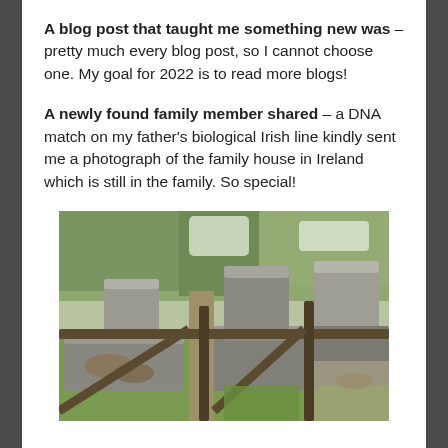A blog post that taught me something new was – pretty much every blog post, so I cannot choose one. My goal for 2022 is to read more blogs!
A newly found family member shared – a DNA match on my father's biological Irish line kindly sent me a photograph of the family house in Ireland which is still in the family. So special!
[Figure (photo): Outdoor photograph of old cemetery or graveyard showing weathered stone grave slabs and headstones on grass with trees in the background and fallen leaves scattered around.]